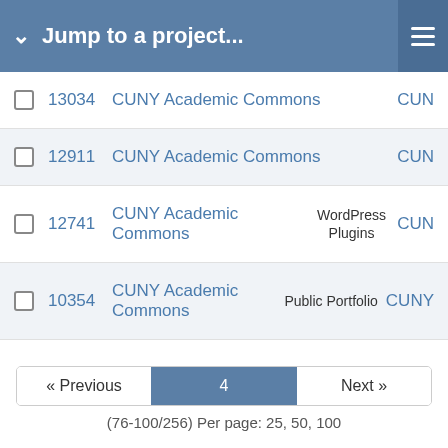Jump to a project...
13034   CUNY Academic Commons   CUN
12911   CUNY Academic Commons   CUN
12741   CUNY Academic Commons   WordPress Plugins   CUN
10354   CUNY Academic Commons   Public Portfolio   CUNY
« Previous   4   Next »
(76-100/256) Per page: 25, 50, 100